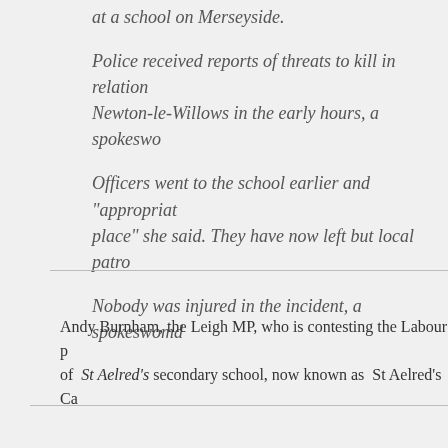at a school on Merseyside.
Police received reports of threats to kill in relation to Newton-le-Willows in the early hours, a spokeswoman said.
Officers went to the school earlier and "appropriate measures were put in place" she said. They have now left but local patrol officers remain.
Nobody was injured in the incident, a spokeswoman said.
Andy Burnham, the Leigh MP, who is contesting the Labour party leadership, was educated at St Aelred's secondary school, now known as St Aelred's Catholic Technology College.